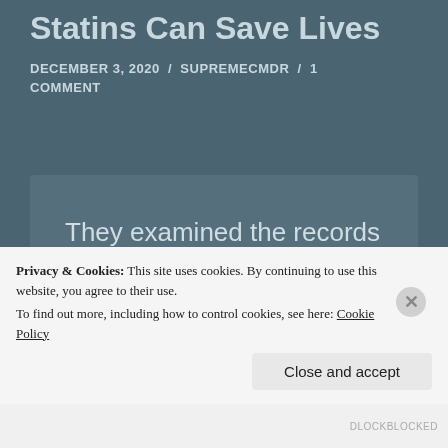Statins Can Save Lives
DECEMBER 3, 2020 / SUPREMECMDR / 1 COMMENT
They examined the records of nearly 300,000 adults in the U.S. who had an initial
Privacy & Cookies: This site uses cookies. By continuing to use this website, you agree to their use.
To find out more, including how to control cookies, see here: Cookie Policy
Close and accept